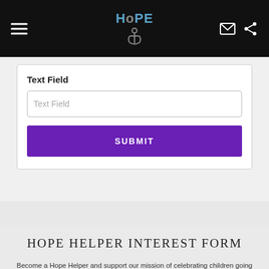HoPE [logo with anchor]
Text Field
Text Field
SUBMIT
HOPE HELPER INTEREST FORM
Become a Hope Helper and support our mission of celebrating children going through health challenges. Individuals, families, churches, schools and businesses can become Hope Helpers and